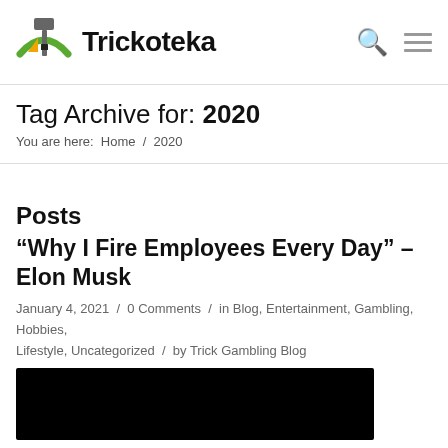Trickoteka
Tag Archive for: 2020
You are here:  Home  /  2020
Posts
“Why I Fire Employees Every Day” – Elon Musk
January 4, 2021  /  0 Comments  /  in Blog, Entertainment, Gambling, Hobbies, Lifestyle, Uncategorized  /  by Trick Gambling Blog
[Figure (photo): Black image/thumbnail for the blog post]